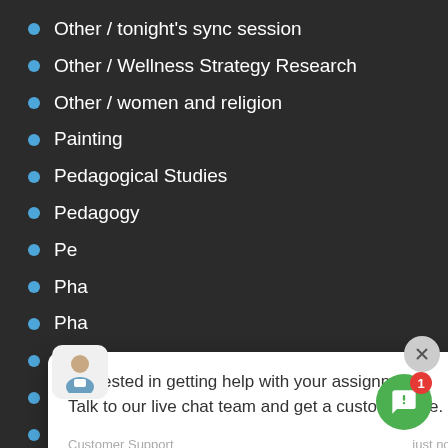Other / tonight's sync session
Other / Wellness Strategy Research
Other / women and religion
Painting
Pedagogical Studies
Pedagogy
Pe[obscured]
Pha[obscured]
Pha[obscured]
Pha[obscured]
Philosophy : Ethics
Philosophy : Philosophy
Philosophy homework help
[Figure (screenshot): Chat popup overlay reading: Interested in getting help with your assignment? Talk to our live chat team and get a custom quote. Customer Support just now. With close button and avatar icon.]